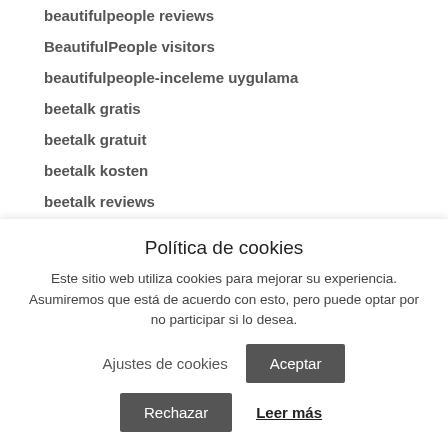beautifulpeople reviews
BeautifulPeople visitors
beautifulpeople-inceleme uygulama
beetalk gratis
beetalk gratuit
beetalk kosten
beetalk reviews
BeeTalk visitors
beetalk-inceleme yorumlar
Política de cookies
Este sitio web utiliza cookies para mejorar su experiencia. Asumiremos que está de acuerdo con esto, pero puede optar por no participar si lo desea.
Ajustes de cookies
Aceptar
Rechazar
Leer más